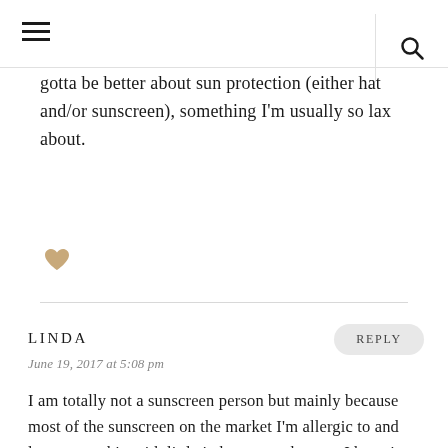≡  🔍
gotta be better about sun protection (either hat and/or sunscreen), something I'm usually so lax about.
♥
LINDA
REPLY
June 19, 2017 at 5:08 pm
I am totally not a sunscreen person but mainly because most of the sunscreen on the market I'm allergic to and leaves my skin with little itchy watery bumps. I have in recent years been more keen at wearing sunscreen after being able to find a physical one that suits my face and